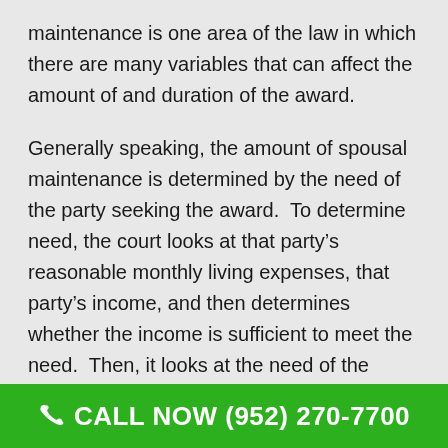maintenance is one area of the law in which there are many variables that can affect the amount of and duration of the award.
Generally speaking, the amount of spousal maintenance is determined by the need of the party seeking the award.  To determine need, the court looks at that party’s reasonable monthly living expenses, that party’s income, and then determines whether the income is sufficient to meet the need.  Then, it looks at the need of the person from whom spousal maintenance is
CALL NOW (952) 270-7700